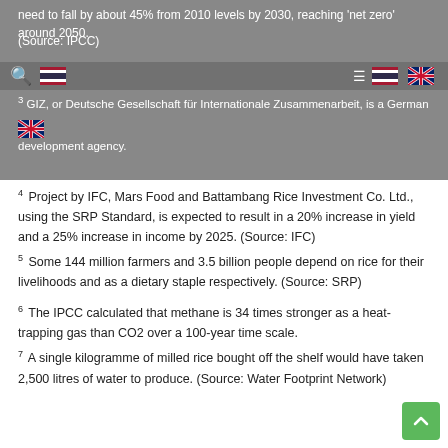need to fall by about 45% from 2010 levels by 2030, reaching 'net zero' around 2050.
(Source: IPCC)
3 GIZ, or Deutsche Gesellschaft für Internationale Zusammenarbeit, is a German development agency.
4 Project by IFC, Mars Food and Battambang Rice Investment Co. Ltd., using the SRP Standard, is expected to result in a 20% increase in yield and a 25% increase in income by 2025. (Source: IFC)
5 Some 144 million farmers and 3.5 billion people depend on rice for their livelihoods and as a dietary staple respectively. (Source: SRP)
6 The IPCC calculated that methane is 34 times stronger as a heat-trapping gas than CO2 over a 100-year time scale.
7 A single kilogramme of milled rice bought off the shelf would have taken 2,500 litres of water to produce. (Source: Water Footprint Network)